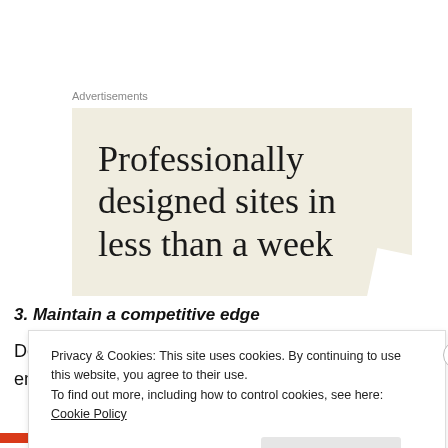Advertisements
[Figure (illustration): Advertisement banner with beige/cream background showing text 'Professionally designed sites in less than a week' in large serif font, with a torn paper effect on the right side.]
3. Maintain a competitive edge
Depending upon your organization's competitive environment sustainability can help prevent losing
Privacy & Cookies: This site uses cookies. By continuing to use this website, you agree to their use.
To find out more, including how to control cookies, see here: Cookie Policy
Close and accept
FROM THE